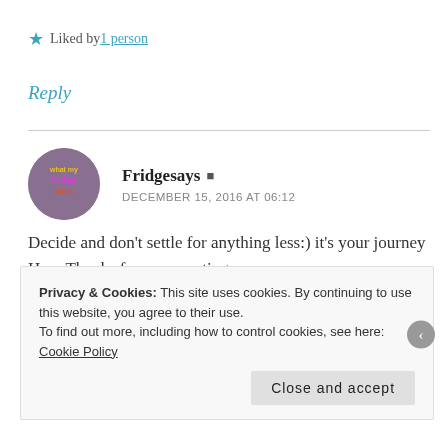★ Liked by 1 person
Reply
Fridgesays
DECEMBER 15, 2016 AT 06:12
Decide and don't settle for anything less:) it's your journey Hun. Thanks for commenting
Privacy & Cookies: This site uses cookies. By continuing to use this website, you agree to their use.
To find out more, including how to control cookies, see here: Cookie Policy
Close and accept